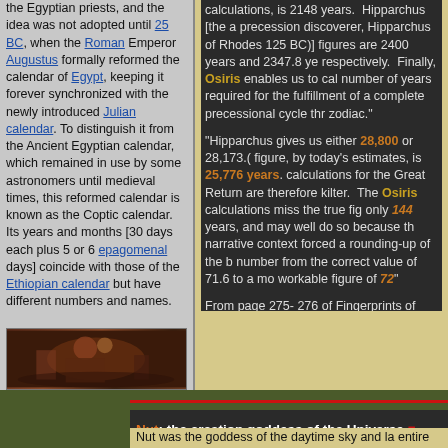the Egyptian priests, and the idea was not adopted until 25 BC, when the Roman Emperor Augustus formally reformed the calendar of Egypt, keeping it forever synchronized with the newly introduced Julian calendar. To distinguish it from the Ancient Egyptian calendar, which remained in use by some astronomers until medieval times, this reformed calendar is known as the Coptic calendar. Its years and months [30 days each plus 5 or 6 epagomenal days] coincide with those of the Ethiopian calendar but have different numbers and names.
[Figure (illustration): Colorful illustration, appears to depict a figure in traditional or mythological style]
calculations, is 2148 years. Hipparchus [the actual precession discoverer, Hipparchus of Rhodes (190-125 BC)] figures are 2400 years and 2347.8 years respectively. Finally, Osiris enables us to calculate the number of years required for the fulfillment of a complete precessional cycle through the zodiac.
"Hipparchus gives us either 28,800 or 28,173.6... The true figure, by today's estimates, is 25,776 years. The Osiris calculations for the Great Return are therefore somewhat off kilter. The Osiris calculations miss the true figure by only 144 years, and may well do so because the mythological narrative context forced a rounding-up of the base number from the correct value of 71.6 to a more workable figure of 72"
From page 275- 276 of Fingerprints of the God...
Nut: the creation goddess of the Universe ...
Nut was the goddess of the daytime sky and land... entire sky and was the place where clouds...